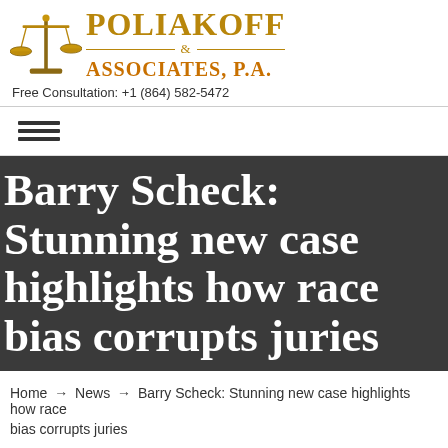[Figure (logo): Poliakoff & Associates, P.A. law firm logo with gold balance scales and gold serif text]
Free Consultation: +1 (864) 582-5472
[Figure (other): Hamburger menu icon with three horizontal bars]
Barry Scheck: Stunning new case highlights how race bias corrupts juries
Home → News → Barry Scheck: Stunning new case highlights how race bias corrupts juries